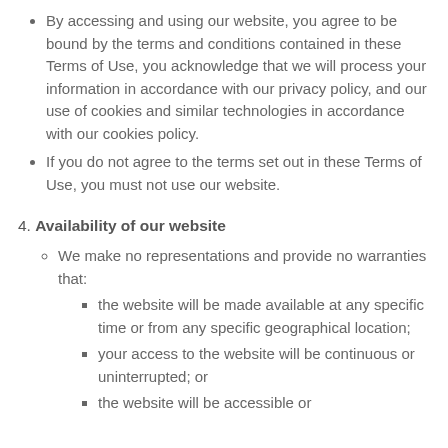By accessing and using our website, you agree to be bound by the terms and conditions contained in these Terms of Use, you acknowledge that we will process your information in accordance with our privacy policy, and our use of cookies and similar technologies in accordance with our cookies policy.
If you do not agree to the terms set out in these Terms of Use, you must not use our website.
4. Availability of our website
We make no representations and provide no warranties that:
the website will be made available at any specific time or from any specific geographical location;
your access to the website will be continuous or uninterrupted; or
the website will be accessible or